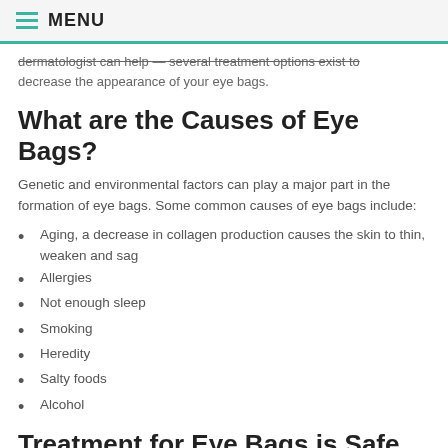MENU
dermatologist can help — several treatment options exist to decrease the appearance of your eye bags.
What are the Causes of Eye Bags?
Genetic and environmental factors can play a major part in the formation of eye bags. Some common causes of eye bags include:
Aging, a decrease in collagen production causes the skin to thin, weaken and sag
Allergies
Not enough sleep
Smoking
Heredity
Salty foods
Alcohol
Treatment for Eye Bags is Safe When Performed by a Board-Certified Dermatologist